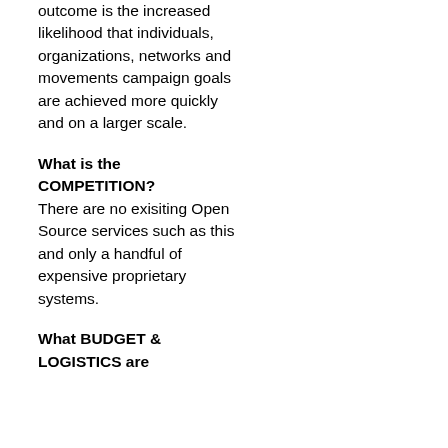outcome is the increased likelihood that individuals, organizations, networks and movements campaign goals are achieved more quickly and on a larger scale.
What is the COMPETITION?
There are no exisiting Open Source services such as this and only a handful of expensive proprietary systems.
What BUDGET & LOGISTICS are